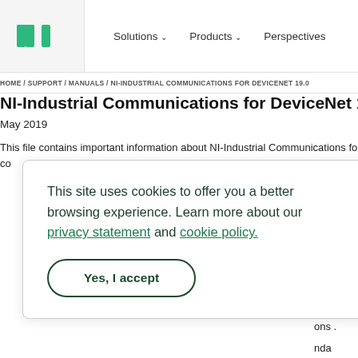NI logo | Solutions | Products | Perspectives
HOME / SUPPORT / MANUALS / NI-INDUSTRIAL COMMUNICATIONS FOR DEVICENET 19.0...
NI-Industrial Communications for DeviceNet 19.0 Readme
May 2019
This file contains important information about NI-Industrial Communications for DeviceNet. co...
This site uses cookies to offer you a better browsing experience. Learn more about our privacy statement and cookie policy.
Yes, I accept
...iceNe ...oftw ...hat y ...Ensu
...ons . ...nda